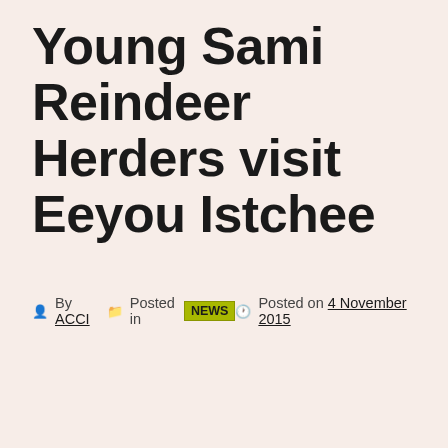Young Sami Reindeer Herders visit Eeyou Istchee
By ACCI  Posted in NEWS  Posted on 4 November 2015